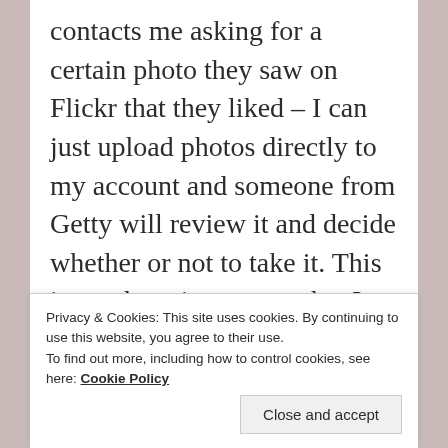contacts me asking for a certain photo they saw on Flickr that they liked – I can just upload photos directly to my account and someone from Getty will review it and decide whether or not to take it. This is much easier, except that I have to fill out a model release for every single photo that has a human in it, which is a pain. But I'm going to upload some non-human stuff as soon as possible and get model releases from friends I've
Privacy & Cookies: This site uses cookies. By continuing to use this website, you agree to their use.
To find out more, including how to control cookies, see here: Cookie Policy
Close and accept